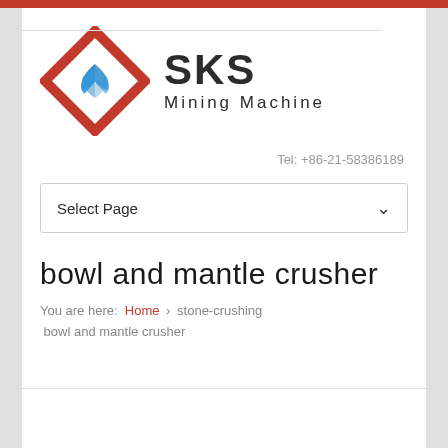[Figure (logo): SKS Mining Machine logo with red diamond shape and blue butterfly/leaf icon, text SKS Mining Machine]
Tel: +86-21-58386189
Select Page
bowl and mantle crusher
You are here: Home > stone-crushing bowl and mantle crusher